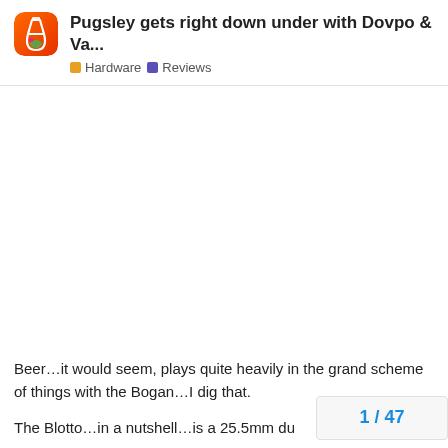Pugsley gets right down under with Dovpo & Va... | Hardware | Reviews
[Figure (logo): Forum logo icon — orange/red gradient flask with green and pink liquid, on orange-red background with rounded corners]
Beer…it would seem, plays quite heavily in the grand scheme of things with the Bogan…I dig that.
The Blotto…in a nutshell…is a 25.5mm du